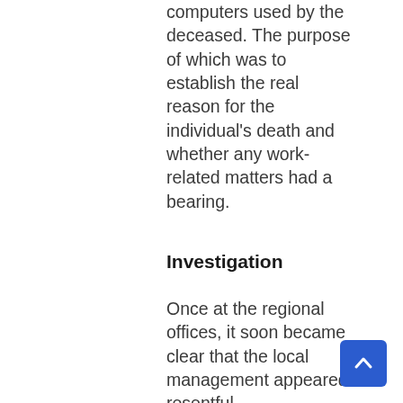computers used by the deceased. The purpose of which was to establish the real reason for the individual's death and whether any work-related matters had a bearing.
Investigation
Once at the regional offices, it soon became clear that the local management appeared resentful